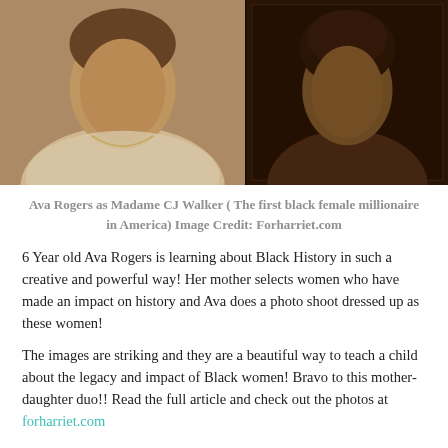[Figure (photo): Two sepia-toned historical-style portrait photographs side by side: left shows a young girl dressed as Madame CJ Walker in a white top with a necklace, right shows Madame CJ Walker in a dark frame with upswept hair]
Ava Rogers as Madame CJ Walker ( The first black female millionaire in America) Image Credit: Forharriet.com
6 Year old Ava Rogers is learning about Black History in such a creative and powerful way! Her mother selects women who have made an impact on history and Ava does a photo shoot dressed up as these women!
The images are striking and they are a beautiful way to teach a child about the legacy and impact of Black women!  Bravo to this mother-daughter duo!! Read the full article and check out the photos at forharriet.com